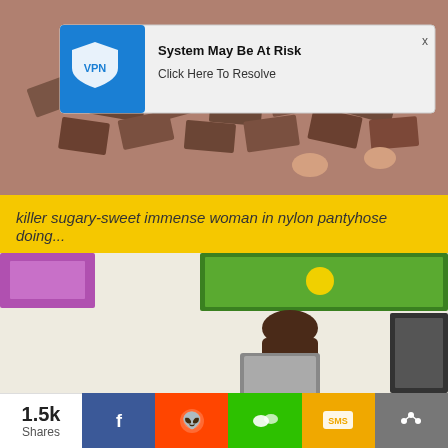[Figure (screenshot): Adult content thumbnail showing legs on a patterned floor with a VPN notification popup overlay reading 'System May Be At Risk - Click Here To Resolve']
killer sugary-sweet immense woman in nylon pantyhose doing...
[Figure (screenshot): Adult content thumbnail showing a woman sitting in an office-like setting with artworks on wall]
1.5k Shares  [Facebook] [Reddit] [WeChat] [SMS] [Share]